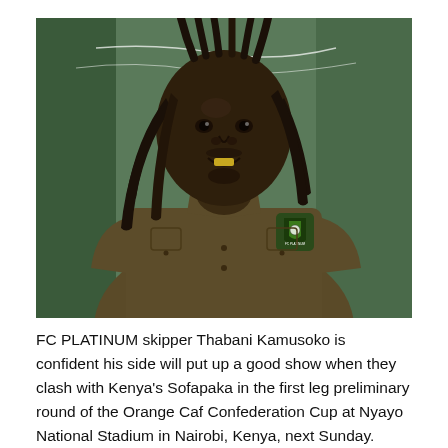[Figure (photo): A man wearing a dark olive/khaki long-sleeve shirt with an FC Platinum football club badge on the left chest. He has dreadlocks and is smiling. Background shows green curtains/fabric and some white strings/lights.]
FC PLATINUM skipper Thabani Kamusoko is confident his side will put up a good show when they clash with Kenya's Sofapaka in the first leg preliminary round of the Orange Caf Confederation Cup at Nyayo National Stadium in Nairobi, Kenya, next Sunday.